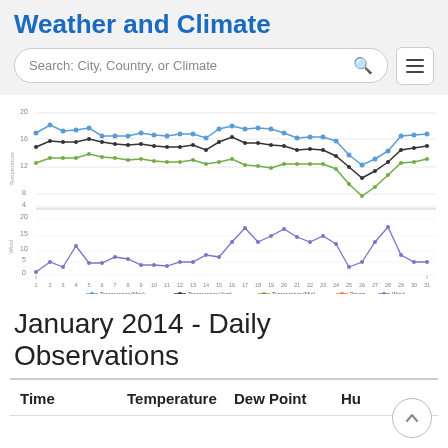Weather and Climate
Search: City, Country, or Climate
[Figure (line-chart): Dual-axis line chart showing daily temperature (max, avg, min) and wind values for January 2014 across 31 days]
January 2014 - Daily Observations
| Time | Temperature | Dew Point | Hu |
| --- | --- | --- | --- |